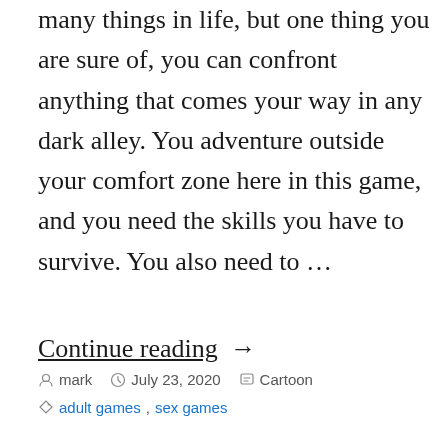many things in life, but one thing you are sure of, you can confront anything that comes your way in any dark alley. You adventure outside your comfort zone here in this game, and you need the skills you have to survive. You also need to …
Continue reading →
mark   July 23, 2020   Cartoon   adult games, sex games